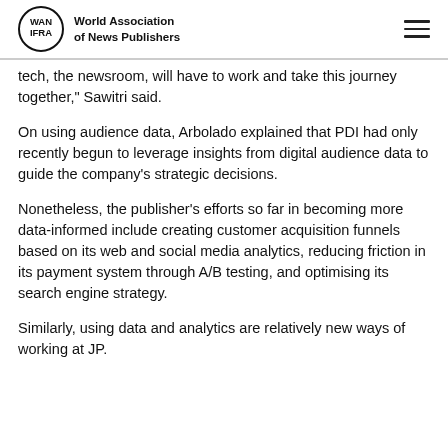World Association of News Publishers
tech, the newsroom, will have to work and take this journey together," Sawitri said.
On using audience data, Arbolado explained that PDI had only recently begun to leverage insights from digital audience data to guide the company's strategic decisions.
Nonetheless, the publisher's efforts so far in becoming more data-informed include creating customer acquisition funnels based on its web and social media analytics, reducing friction in its payment system through A/B testing, and optimising its search engine strategy.
Similarly, using data and analytics are relatively new ways of working at JP.